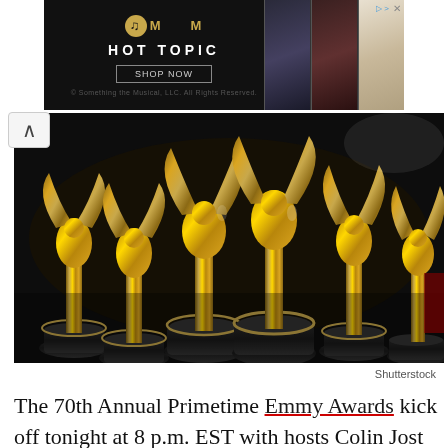[Figure (screenshot): Hot Topic advertisement banner with dark background, gold logo with M icon, 'HOT TOPIC' text, 'SHOP NOW' button, and product images on the right]
[Figure (photo): Multiple golden Emmy Award statues displayed on black bases, photographed from a low angle showing rows of gold winged statuettes]
Shutterstock
The 70th Annual Primetime Emmy Awards kick off tonight at 8 p.m. EST with hosts Colin Jost and Michael Che